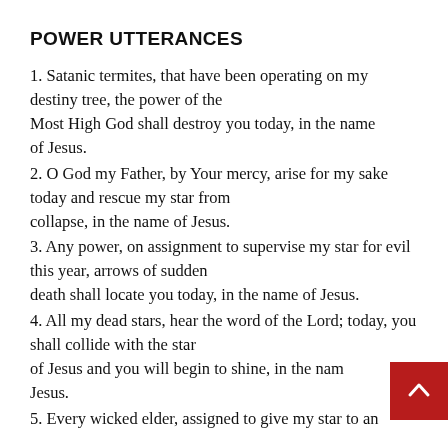POWER UTTERANCES
1. Satanic termites, that have been operating on my destiny tree, the power of the Most High God shall destroy you today, in the name of Jesus.
2. O God my Father, by Your mercy, arise for my sake today and rescue my star from collapse, in the name of Jesus.
3. Any power, on assignment to supervise my star for evil this year, arrows of sudden death shall locate you today, in the name of Jesus.
4. All my dead stars, hear the word of the Lord; today, you shall collide with the star of Jesus and you will begin to shine, in the name of Jesus.
5. Every wicked elder, assigned to give my star to an